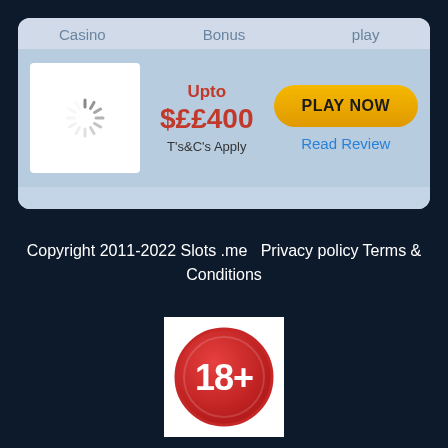| Casino | Bonus | play |
| --- | --- | --- |
| [loading spinner] | Upto $££400
T's&C's Apply | PLAY NOW
Read Review |
Copyright 2011-2022 Slots .me   Privacy policy Terms & Conditions
[Figure (illustration): 18+ age restriction badge — red circle with '18+' text in white on a white square background]